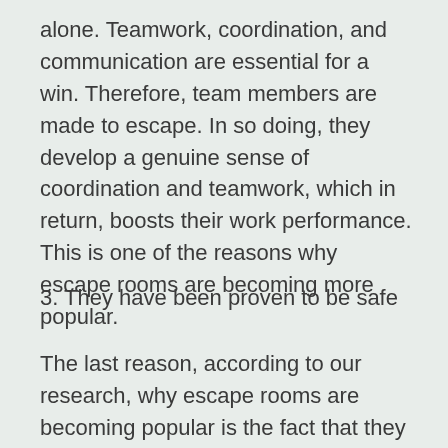alone. Teamwork, coordination, and communication are essential for a win. Therefore, team members are made to escape. In so doing, they develop a genuine sense of coordination and teamwork, which in return, boosts their work performance. This is one of the reasons why escape rooms are becoming more popular.
3. They have been proven to be safe
The last reason, according to our research, why escape rooms are becoming popular is the fact that they have been proven to be safe. Yes, they were safe